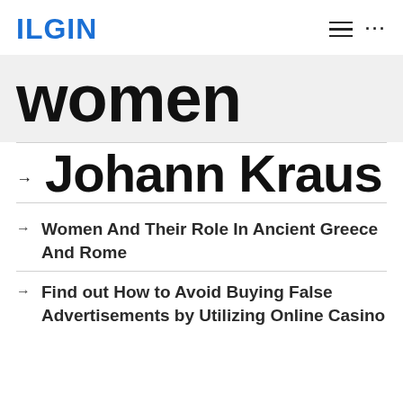ILGIN
women
Johann Kraus
Women And Their Role In Ancient Greece And Rome
Find out How to Avoid Buying False Advertisements by Utilizing Online Casino